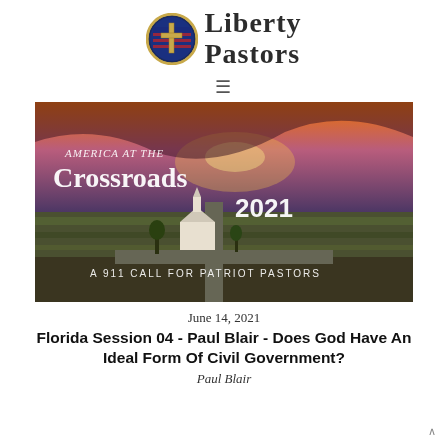[Figure (logo): Liberty Pastors logo with circular shield containing cross and American flag, with 'Liberty Pastors' text in serif font]
[Figure (illustration): Aerial photograph of a church at a crossroads in rural farmland at sunset, with text overlay: 'America at the Crossroads 2021' and 'A 911 Call for Patriot Pastors']
June 14, 2021
Florida Session 04 - Paul Blair - Does God Have An Ideal Form Of Civil Government?
Paul Blair